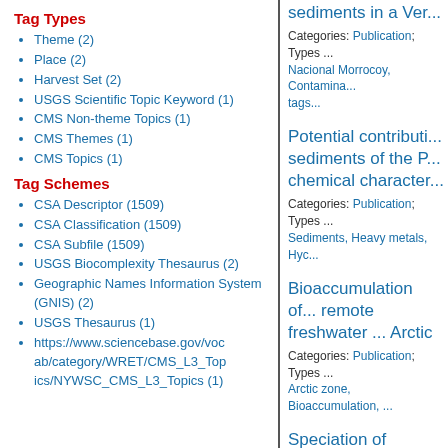Tag Types
Theme (2)
Place (2)
Harvest Set (2)
USGS Scientific Topic Keyword (1)
CMS Non-theme Topics (1)
CMS Themes (1)
CMS Topics (1)
Tag Schemes
CSA Descriptor (1509)
CSA Classification (1509)
CSA Subfile (1509)
USGS Biocomplexity Thesaurus (2)
Geographic Names Information System (GNIS) (2)
USGS Thesaurus (1)
https://www.sciencebase.gov/vocab/category/WRET/CMS_L3_Topics/NYWSC_CMS_L3_Topics (1)
sediments in a Ver...
Categories: Publication; Types ... Nacional Morrocoy, Contamina... tags...
Potential contributi... sediments of the P... chemical character...
Categories: Publication; Types ... Sediments, Heavy metals, Hyc...
Bioaccumulation of... remote freshwater ... Arctic
Categories: Publication; Types ... Arctic zone, Bioaccumulation, ...
Speciation of sewa... coastal sediments ...
Categories: Publication; Types ...